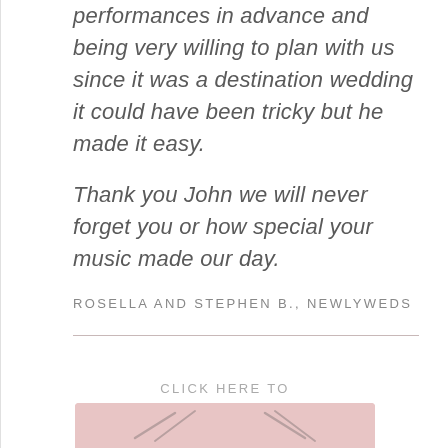performances in advance and being very willing to plan with us since it was a destination wedding it could have been tricky but he made it easy.

Thank you John we will never forget you or how special your music made our day.
ROSELLA AND STEPHEN B., NEWLYWEDS
CLICK HERE TO